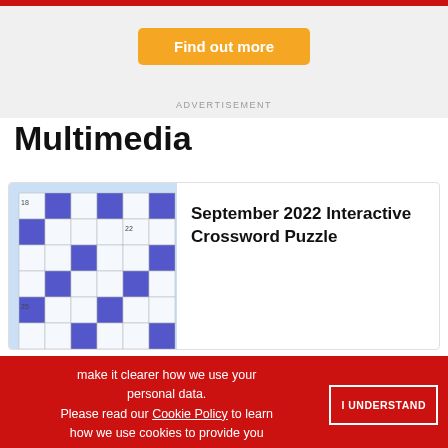[Figure (screenshot): Advertisement area with orange 'Find out more' button on grey background with red bar at top]
ADVERTISEMENT
Multimedia
[Figure (photo): Crossword puzzle image with numbered blue and white squares]
September 2022 Interactive Crossword Puzzle
make it clearer how we use your personal data.
Please read our Cookie Policy to learn how we use cookies to provide you
I UNDERSTAND
[Figure (screenshot): OriGene Special Offer advertisement: Primary Antibody Samples 30 ul for $99/€99 with Learn More button]
ADVERTISEMENT